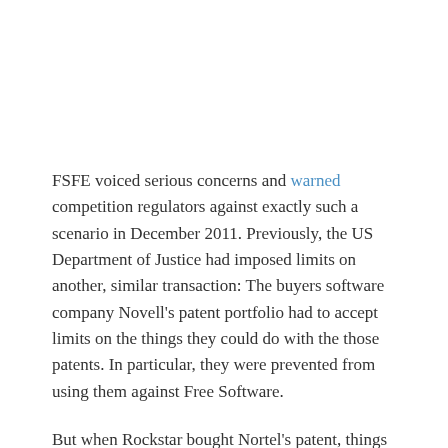FSFE voiced serious concerns and warned competition regulators against exactly such a scenario in December 2011. Previously, the US Department of Justice had imposed limits on another, similar transaction: The buyers software company Novell's patent portfolio had to accept limits on the things they could do with the those patents. In particular, they were prevented from using them against Free Software.
But when Rockstar bought Nortel's patent, things were different. Whatever promises, if any, the US competition regulators managed to extract from the companies that make up Rockstar - Microsoft, Apple, RIM, Ericsson, and Sony - are clearly ineffective. Rockstar's CEO is even reported as publicly stating that he does not feel bound